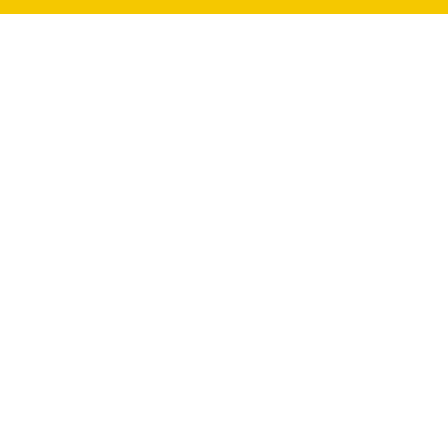[Figure (other): Yellow decorative bar at top of page]
[Figure (photo): Event banner image for LATOKEN Blockchain Economic Forum 2020 (BEF), held in Davos, Switzerland, January 20-24. Shows a conference room with audience, overlaid with LATOKEN logo, BEF branding in cyan, and event details in cyan text.]